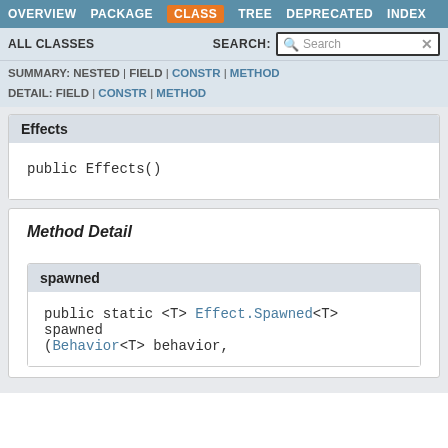OVERVIEW  PACKAGE  CLASS  TREE  DEPRECATED  INDEX
ALL CLASSES  SEARCH:
SUMMARY: NESTED | FIELD | CONSTR | METHOD  DETAIL: FIELD | CONSTR | METHOD
Effects
public Effects()
Method Detail
spawned
public static <T> Effect.Spawned<T> spawned(Behavior<T> behavior,